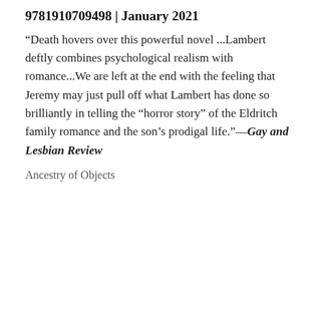9781910709498 | January 2021
“Death hovers over this powerful novel ...Lambert deftly combines psychological realism with romance...We are left at the end with the feeling that Jeremy may just pull off what Lambert has done so brilliantly in telling the “horror story” of the Eldritch family romance and the son’s prodigal life.”—Gay and Lesbian Review
Ancestry of Objects